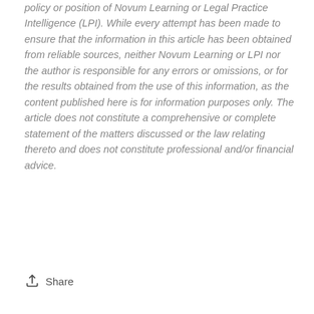policy or position of Novum Learning or Legal Practice Intelligence (LPI). While every attempt has been made to ensure that the information in this article has been obtained from reliable sources, neither Novum Learning or LPI nor the author is responsible for any errors or omissions, or for the results obtained from the use of this information, as the content published here is for information purposes only. The article does not constitute a comprehensive or complete statement of the matters discussed or the law relating thereto and does not constitute professional and/or financial advice.
Share